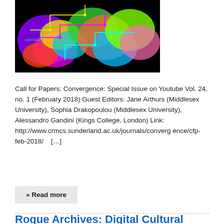[Figure (illustration): Colorful digital map illustration with neon-colored circuit-like overlays on a black background, showing geographic shapes in vivid rainbow colors.]
Call for Papers: Convergence: Special Issue on Youtube Vol. 24, no. 1 (February 2018) Guest Editors: Jane Arthurs (Middlesex University), Sophia Drakopoulou (Middlesex University), Alessandro Gandini (Kings College, London) Link: http://www.crmcs.sunderland.ac.uk/journals/convergence/cfp-feb-2018/    […]
» Read more
Rogue Archives: Digital Cultural